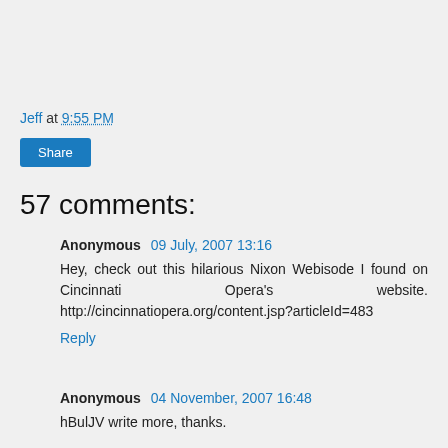Jeff at 9:55 PM
Share
57 comments:
Anonymous  09 July, 2007 13:16
Hey, check out this hilarious Nixon Webisode I found on Cincinnati Opera's website. http://cincinnatiopera.org/content.jsp?articleId=483
Reply
Anonymous  04 November, 2007 16:48
hBulJV write more, thanks.